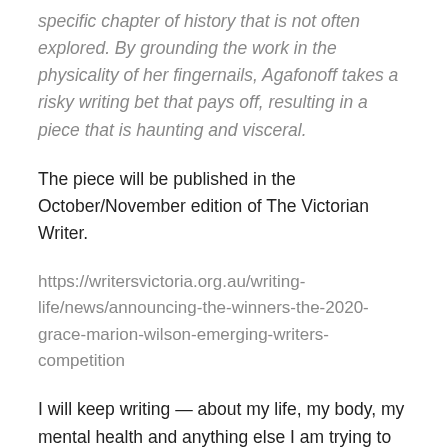specific chapter of history that is not often explored. By grounding the work in the physicality of her fingernails, Agafonoff takes a risky writing bet that pays off, resulting in a piece that is haunting and visceral.
The piece will be published in the October/November edition of The Victorian Writer.
https://writersvictoria.org.au/writing-life/news/announcing-the-winners-the-2020-grace-marion-wilson-emerging-writers-competition
I will keep writing — about my life, my body, my mental health and anything else I am trying to figure out. And I will find the beauty in all of it.